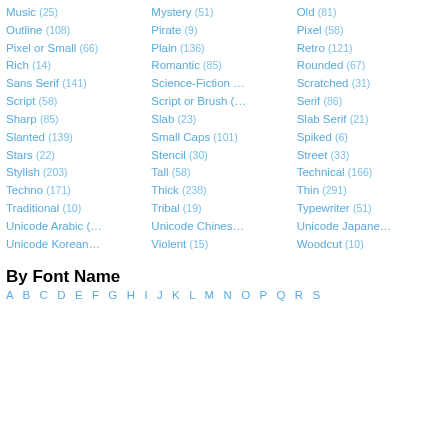Music (25)
Mystery (51)
Old (81)
Outline (108)
Pirate (9)
Pixel (58)
Pixel or Small (66)
Plain (136)
Retro (121)
Rich (14)
Romantic (85)
Rounded (67)
Sans Serif (141)
Science-Fiction …
Scratched (31)
Script (58)
Script or Brush (…
Serif (86)
Sharp (85)
Slab (23)
Slab Serif (21)
Slanted (139)
Small Caps (101)
Spiked (6)
Stars (22)
Stencil (30)
Street (33)
Stylish (203)
Tall (58)
Technical (166)
Techno (171)
Thick (238)
Thin (291)
Traditional (10)
Tribal (19)
Typewriter (51)
Unicode Arabic (…
Unicode Chines…
Unicode Japane…
Unicode Korean…
Violent (15)
Woodcut (10)
By Font Name
A  B  C  D  E  F  G  H  I  J  K  L  M  N  O  P  Q  R  S